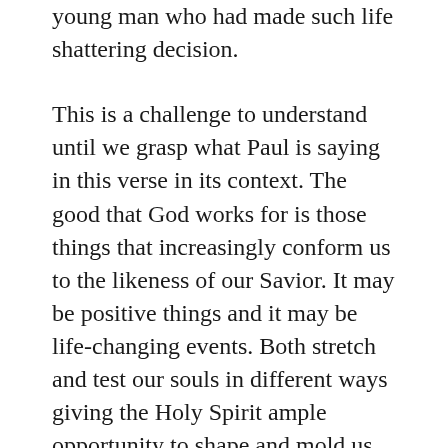young man who had made such life shattering decision.
This is a challenge to understand until we grasp what Paul is saying in this verse in its context. The good that God works for is those things that increasingly conform us to the likeness of our Savior. It may be positive things and it may be life-changing events. Both stretch and test our souls in different ways giving the Holy Spirit ample opportunity to shape and mold us into the people that our Father intends us to be.
People whose first impulse is to love and forgive when hateful revenge seems to be the most appealing course.